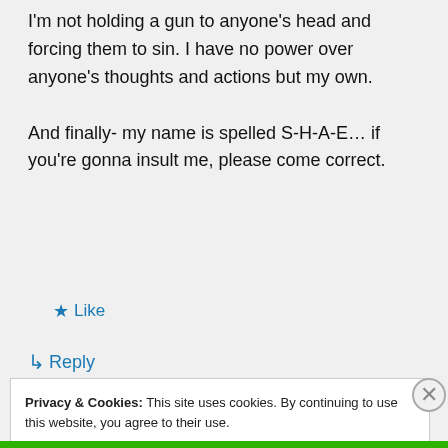I'm not holding a gun to anyone's head and forcing them to sin. I have no power over anyone's thoughts and actions but my own.

And finally- my name is spelled S-H-A-E… if you're gonna insult me, please come correct.
★ Like
↳ Reply
Privacy & Cookies: This site uses cookies. By continuing to use this website, you agree to their use.
To find out more, including how to control cookies, see here: Cookie Policy
Close and accept